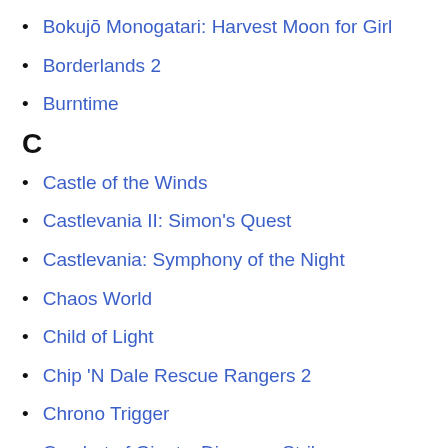Bokujō Monogatari: Harvest Moon for Girl
Borderlands 2
Burntime
C
Castle of the Winds
Castlevania II: Simon's Quest
Castlevania: Symphony of the Night
Chaos World
Child of Light
Chip 'N Dale Rescue Rangers 2
Chrono Trigger
Combat of Giants: Dinosaur Strike
Cosmic Soldier